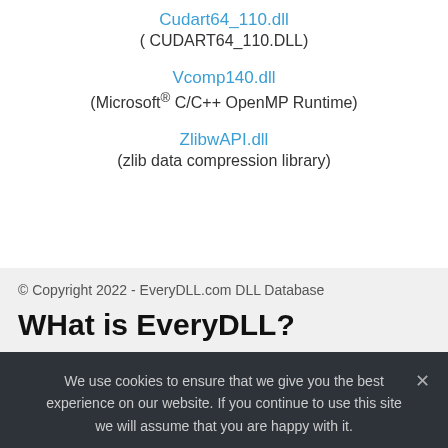Cudart64_110.dll
( CUDART64_110.DLL)
Vcomp140.dll
(Microsoft® C/C++ OpenMP Runtime)
ZlibwAPI.dll
(zlib data compression library)
© Copyright 2022 - EveryDLL.com DLL Database
WHat is EveryDLL?
We use cookies to ensure that we give you the best experience on our website. If you continue to use this site we will assume that you are happy with it.